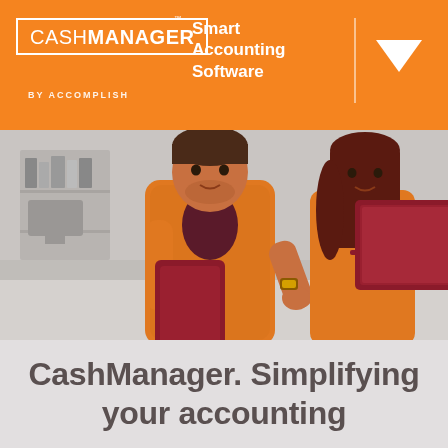[Figure (logo): CashManager logo with orange header bar, Smart Accounting Software tagline, BY ACCOMPLISH subtitle, and downward triangle arrow]
[Figure (illustration): Illustrated flat-design image of two people in an office setting — a man in an orange checkered shirt holding a dark red tablet and a woman in an orange top with a dark red laptop open on a desk, with office/bookshelf background in muted greys]
CashManager. Simplifying your accounting